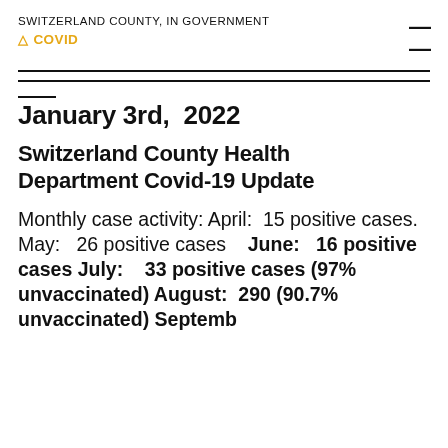SWITZERLAND COUNTY, IN GOVERNMENT
⚠ COVID
January 3rd, 2022
Switzerland County Health Department Covid-19 Update
Monthly case activity: April: 15 positive cases. May: 26 positive cases June: 16 positive cases July: 33 positive cases (97% unvaccinated) August: 290 (90.7% unvaccinated) September...